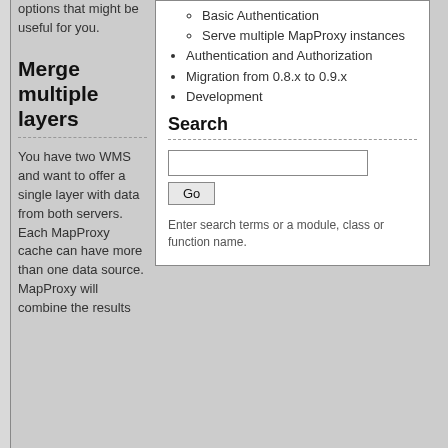options that might be useful for you.
Merge multiple layers
You have two WMS and want to offer a single layer with data from both servers. Each MapProxy cache can have more than one data source. MapProxy will combine the results
Basic Authentication
Serve multiple MapProxy instances
Authentication and Authorization
Migration from 0.8.x to 0.9.x
Development
Search
Enter search terms or a module, class or function name.